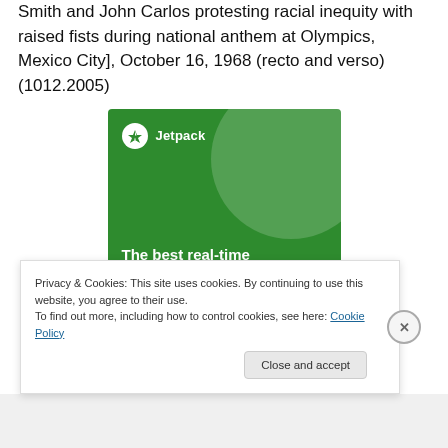Smith and John Carlos protesting racial inequity with raised fists during national anthem at Olympics, Mexico City], October 16, 1968 (recto and verso) (1012.2005)
[Figure (illustration): Jetpack plugin advertisement banner. Green background with circular design element, Jetpack logo (white circle with lightning bolt icon) and text 'Jetpack' at top left. Large bold white text reads 'The best real-time WordPress backup plugin'.]
Privacy & Cookies: This site uses cookies. By continuing to use this website, you agree to their use.
To find out more, including how to control cookies, see here: Cookie Policy
Close and accept